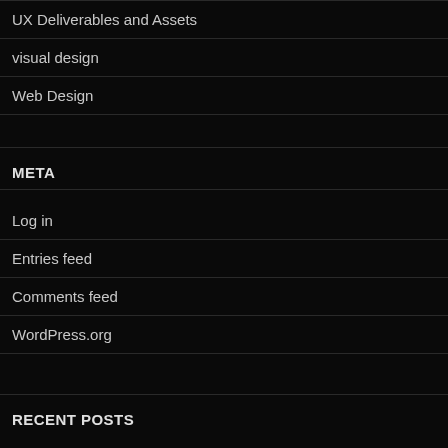UX Deliverables and Assets
visual design
Web Design
META
Log in
Entries feed
Comments feed
WordPress.org
RECENT POSTS